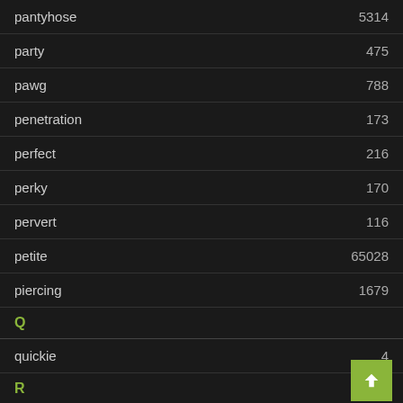pantyhose  5314
party  475
pawg  788
penetration  173
perfect  216
perky  170
pervert  116
petite  65028
piercing  1679
Q
quickie  4
R
real  421
redhead  9188
riding
rimming